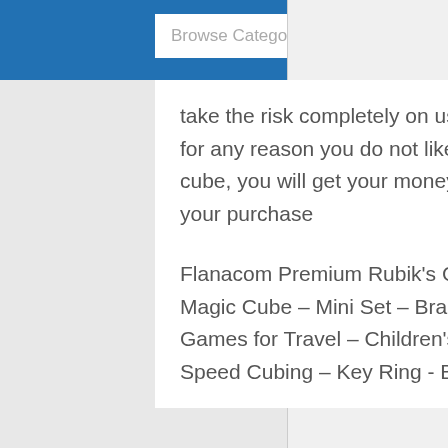Browse Categories
take the risk completely on us and give you a promise. If for any reason you do not like anything about the magic cube, you will get your money back. Up to 30 days after your purchase
Flanacom Premium Rubik's Cube – 3 x 3 12 Set – Robust Magic Cube – Mini Set – Brainteaser – Speed Cube – Games for Travel – Children's Patience Game – For Speed Cubing – Key Ring - B07YDXW8C5